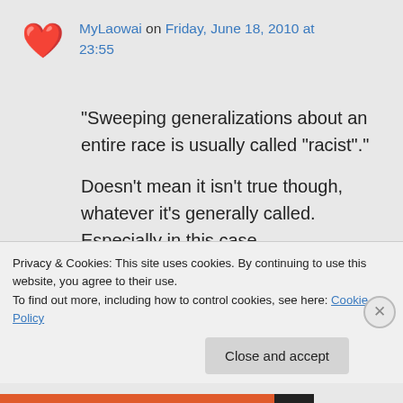MyLaowai on Friday, June 18, 2010 at 23:55
“Sweeping generalizations about an entire race is usually called “racist”.”

Doesn’t mean it isn’t true though, whatever it’s generally called. Especially in this case.

All I am saying is that it is a cost
Privacy & Cookies: This site uses cookies. By continuing to use this website, you agree to their use.
To find out more, including how to control cookies, see here: Cookie Policy